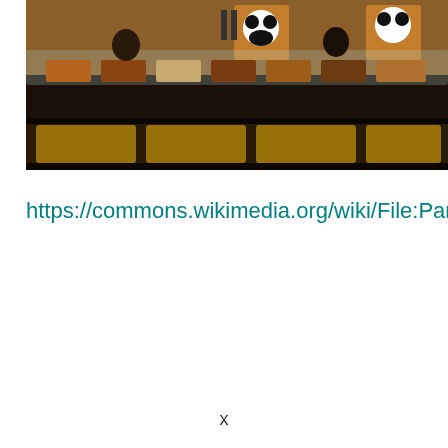[Figure (photo): Interior of a Panda Express restaurant showing the serving counter/buffet line with food stations, warmers, and panda artwork on the back wall. Illuminated warm yellow panels visible below the counter.]
https://commons.wikimedia.org/wiki/File:Panda_Express_Ala...